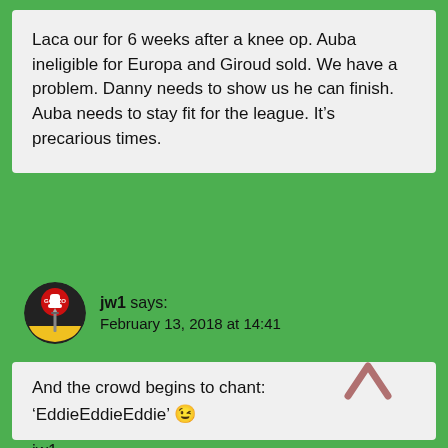Laca our for 6 weeks after a knee op. Auba ineligible for Europa and Giroud sold. We have a problem. Danny needs to show us he can finish. Auba needs to stay fit for the league. It’s precarious times.
jw1 says: February 13, 2018 at 14:41
[Figure (illustration): Circular avatar image with a stylized gonzo/dagger logo on black, red, yellow background]
And the crowd begins to chant: ‘EddieEddieEddie’ 😉

jw1